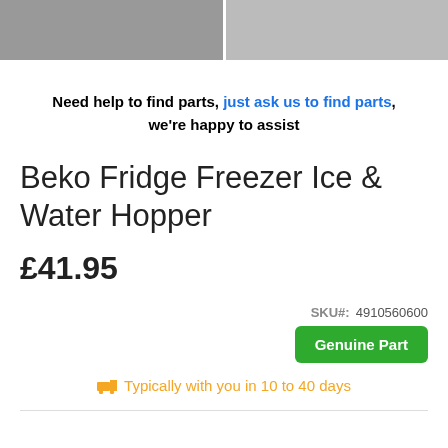[Figure (photo): Two product photos of a Beko fridge freezer ice and water hopper part, side by side at the top of the page]
Need help to find parts, just ask us to find parts, we're happy to assist
Beko Fridge Freezer Ice & Water Hopper
£41.95
SKU#: 4910560600
Genuine Part
Typically with you in 10 to 40 days